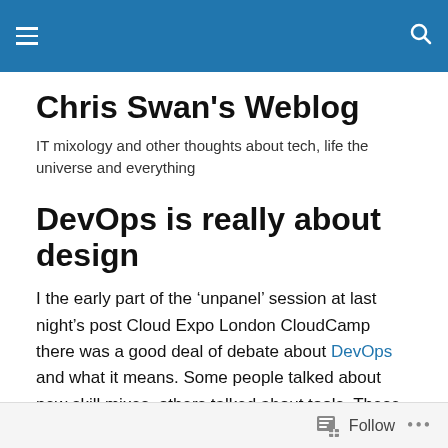[Navigation bar with hamburger menu and search icon]
Chris Swan's Weblog
IT mixology and other thoughts about tech, life the universe and everything
DevOps is really about design
I the early part of the ‘unpanel’ session at last night’s post Cloud Expo London CloudCamp there was a good deal of debate about DevOps and what it means. Some people talked about new skill mixes, others talked about tools. These are I think simply artefacts. The more fundamental
Follow ...